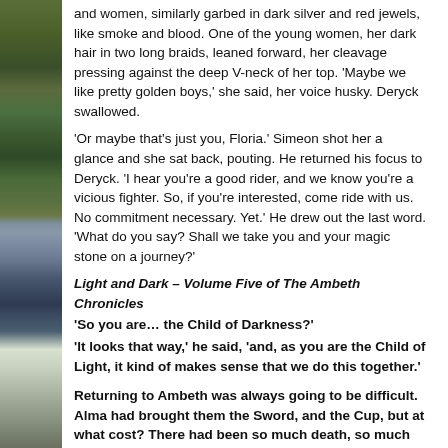[Figure (illustration): Left margin showing a vertical strip of an outdoor garden/floral photograph with purple flowers and green foliage visible against a blurred background.]
and women, similarly garbed in dark silver and red jewels, like smoke and blood. One of the young women, her dark hair in two long braids, leaned forward, her cleavage pressing against the deep V-neck of her top. 'Maybe we like pretty golden boys,' she said, her voice husky. Deryck swallowed.
'Or maybe that's just you, Floria.' Simeon shot her a glance and she sat back, pouting. He returned his focus to Deryck. 'I hear you're a good rider, and we know you're a vicious fighter. So, if you're interested, come ride with us. No commitment necessary. Yet.' He drew out the last word. 'What do you say? Shall we take you and your magic stone on a journey?'
Light and Dark – Volume Five of The Ambeth Chronicles
'So you are… the Child of Darkness?'
'It looks that way,' he said, 'and, as you are the Child of Light, it kind of makes sense that we do this together.'
Returning to Ambeth was always going to be difficult. Alma had brought them the Sword, and the Cup, but at what cost? There had been so much death, so much sorrow. But there was also love, her ties to Ambeth running deeper than she